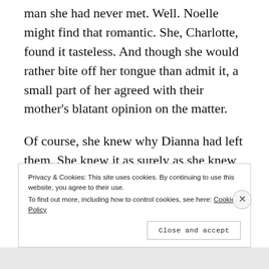man she had never met. Well. Noelle might find that romantic. She, Charlotte, found it tasteless. And though she would rather bite off her tongue than admit it, a small part of her agreed with their mother's blatant opinion on the matter.
Of course, she knew why Dianna had left them. She knew it as surely as she knew that the sun would come in the morning. Dianna had left, not out of selfishness or spite, but out of need.
Privacy & Cookies: This site uses cookies. By continuing to use this website, you agree to their use.
To find out more, including how to control cookies, see here: Cookie Policy

Close and accept